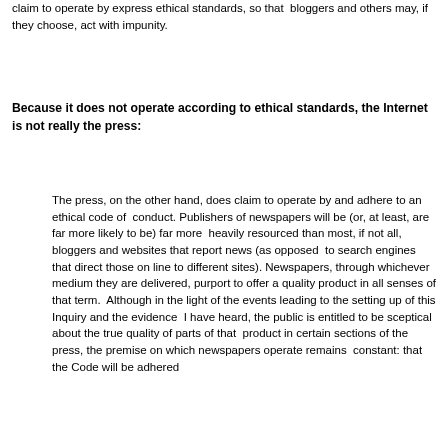claim to operate by express ethical standards, so that bloggers and others may, if they choose, act with impunity.
Because it does not operate according to ethical standards, the Internet is not really the press:
The press, on the other hand, does claim to operate by and adhere to an ethical code of conduct. Publishers of newspapers will be (or, at least, are far more likely to be) far more heavily resourced than most, if not all, bloggers and websites that report news (as opposed to search engines that direct those on line to different sites). Newspapers, through whichever medium they are delivered, purport to offer a quality product in all senses of that term. Although in the light of the events leading to the setting up of this Inquiry and the evidence I have heard, the public is entitled to be sceptical about the true quality of parts of that product in certain sections of the press, the premise on which newspapers operate remains constant: that the Code will be adhered